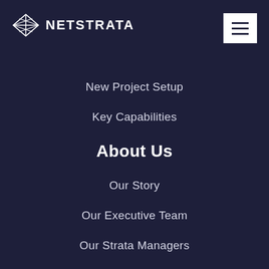[Figure (logo): NetStrata logo with stylized N/W icon and text NETSTRATA in white on dark navy background]
[Figure (other): Hamburger menu button (three horizontal lines) in white box on top right]
New Project Setup
Key Capabilities
About Us
Our Story
Our Executive Team
Our Strata Managers
Community
Industry